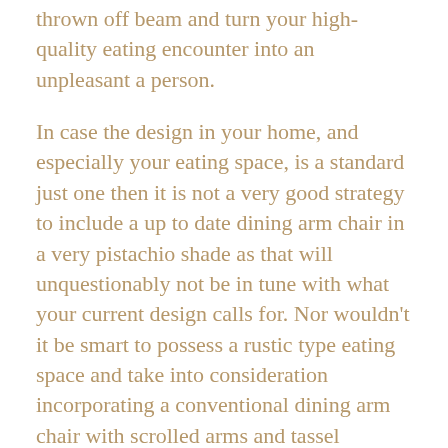thrown off beam and turn your high-quality eating encounter into an unpleasant a person.
In case the design in your home, and especially your eating space, is a standard just one then it is not a very good strategy to include a up to date dining arm chair in a very pistachio shade as that will unquestionably not be in tune with what your current design calls for. Nor wouldn't it be smart to possess a rustic type eating space and take into consideration incorporating a conventional dining arm chair with scrolled arms and tassel layouts. For that reason it really is paramount to carefully review your current style in advance of venturing out seeking your ideal eating arm chair. Paying out respect and offering consideration towards your recent theme is your starting point.